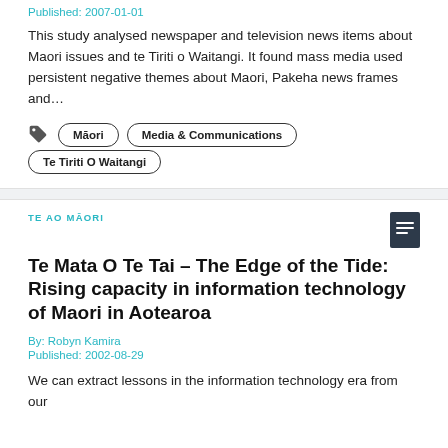Published: 2007-01-01
This study analysed newspaper and television news items about Maori issues and te Tiriti o Waitangi. It found mass media used persistent negative themes about Maori, Pakeha news frames and…
Māori
Media & Communications
Te Tiriti O Waitangi
TE AO MĀORI
Te Mata O Te Tai – The Edge of the Tide: Rising capacity in information technology of Maori in Aotearoa
By: Robyn Kamira
Published: 2002-08-29
We can extract lessons in the information technology era from our